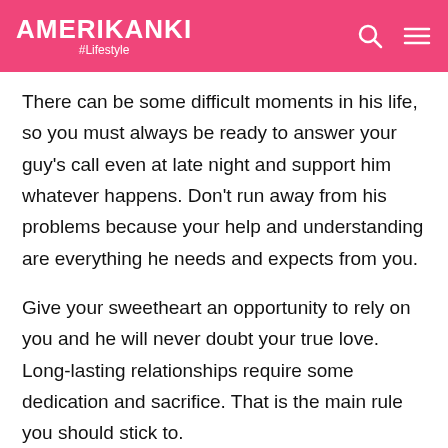AMERIKANKI #Lifestyle
There can be some difficult moments in his life, so you must always be ready to answer your guy's call even at late night and support him whatever happens. Don't run away from his problems because your help and understanding are everything he needs and expects from you.
Give your sweetheart an opportunity to rely on you and he will never doubt your true love. Long-lasting relationships require some dedication and sacrifice. That is the main rule you should stick to.